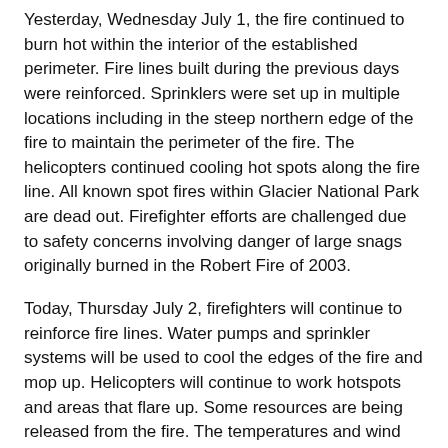Yesterday, Wednesday July 1, the fire continued to burn hot within the interior of the established perimeter. Fire lines built during the previous days were reinforced. Sprinklers were set up in multiple locations including in the steep northern edge of the fire to maintain the perimeter of the fire. The helicopters continued cooling hot spots along the fire line. All known spot fires within Glacier National Park are dead out. Firefighter efforts are challenged due to safety concerns involving danger of large snags originally burned in the Robert Fire of 2003.
Today, Thursday July 2, firefighters will continue to reinforce fire lines. Water pumps and sprinkler systems will be used to cool the edges of the fire and mop up. Helicopters will continue to work hotspots and areas that flare up. Some resources are being released from the fire. The temperatures and wind speeds are expected to increase on the fire.